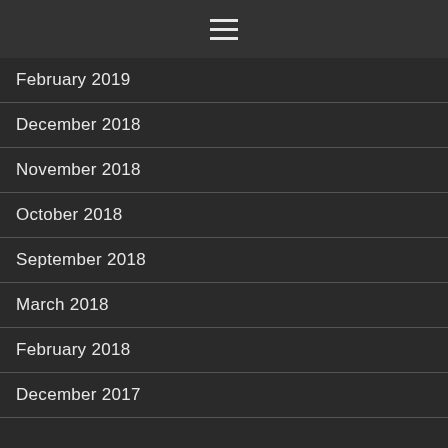☰
February 2019
December 2018
November 2018
October 2018
September 2018
March 2018
February 2018
December 2017